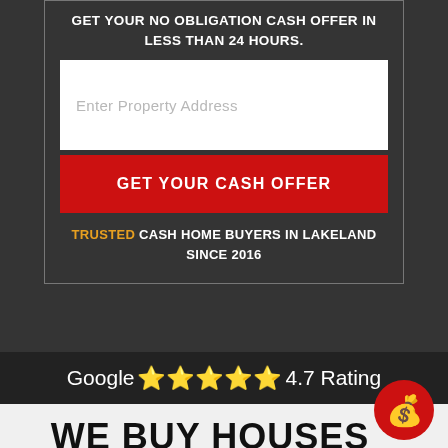GET YOUR NO OBLIGATION CASH OFFER IN LESS THAN 24 HOURS.
[Figure (screenshot): White input form field with placeholder text 'Enter Property Address']
GET YOUR CASH OFFER
TRUSTED CASH HOME BUYERS IN LAKELAND SINCE 2016
Google ⭐⭐⭐⭐⭐ 4.7 Rating
[Figure (illustration): Red circle with money bag emoji ($)]
WE BUY HOUSES